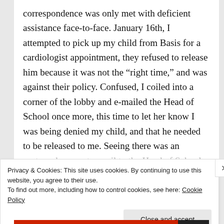correspondence was only met with deficient assistance face-to-face. January 16th, I attempted to pick up my child from Basis for a cardiologist appointment, they refused to release him because it was not the “right time,” and was against their policy. Confused, I coiled into a corner of the lobby and e-mailed the Head of School once more, this time to let her know I was being denied my child, and that he needed to be released to me. Seeing there was an apparent disconnect between Basis and I, I
Privacy & Cookies: This site uses cookies. By continuing to use this website, you agree to their use.
To find out more, including how to control cookies, see here: Cookie Policy